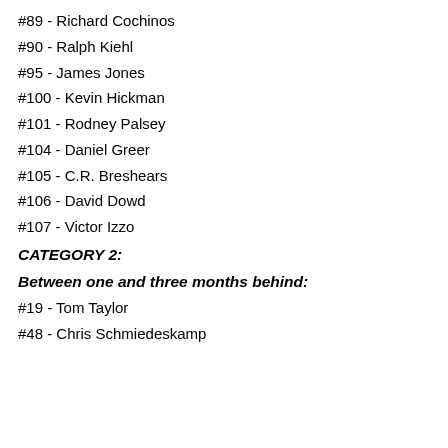#89 - Richard Cochinos
#90 - Ralph Kiehl
#95 - James Jones
#100 - Kevin Hickman
#101 - Rodney Palsey
#104 - Daniel Greer
#105 - C.R. Breshears
#106 - David Dowd
#107 - Victor Izzo
CATEGORY 2:
Between one and three months behind:
#19 - Tom Taylor
#48 - Chris Schmiedeskamp